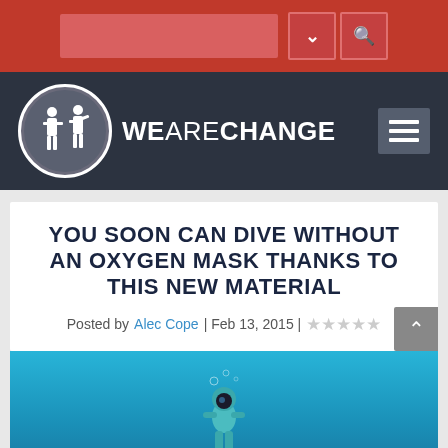[Figure (screenshot): Website top navigation bar with red background, search input field, dropdown chevron icon, and search magnifier icon]
[Figure (logo): WeAreChange website logo: circular emblem with silhouette figures and text WEARECHANGE in white on dark navy header, with hamburger menu button on right]
YOU SOON CAN DIVE WITHOUT AN OXYGEN MASK THANKS TO THIS NEW MATERIAL
Posted by Alec Cope | Feb 13, 2015 | ☆☆☆☆☆
[Figure (photo): Underwater photo with bright blue water background showing a diver figure in teal/green diving gear at the bottom of the frame]